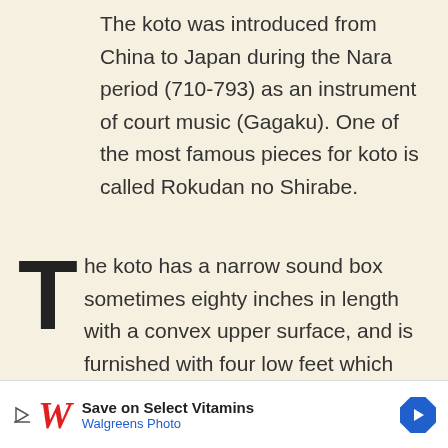The koto was introduced from China to Japan during the Nara period (710-793) as an instrument of court music (Gagaku). One of the most famous pieces for koto is called Rokudan no Shirabe.
The koto has a narrow sound box sometimes eighty inches in length with a convex upper surface, and is furnished with four low feet which rest on the floor when the instrument is to be played. A large number of strings of tightly
[Figure (other): Walgreens advertisement banner: 'Save on Select Vitamins / Walgreens Photo' with Walgreens cursive logo and blue diamond arrow icon]